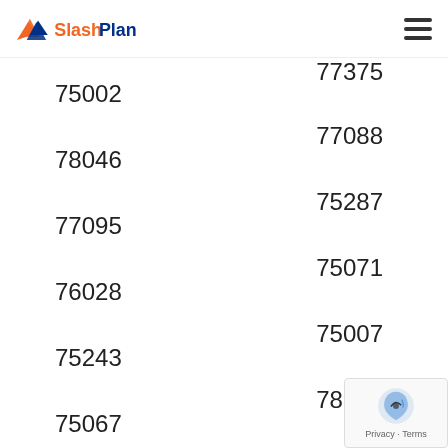SlashPlan
77375
75002
77088
78046
75287
77095
75071
76028
75007
75243
78207
75067
77082
78596
77089
77346
75061
78045
77469
77845